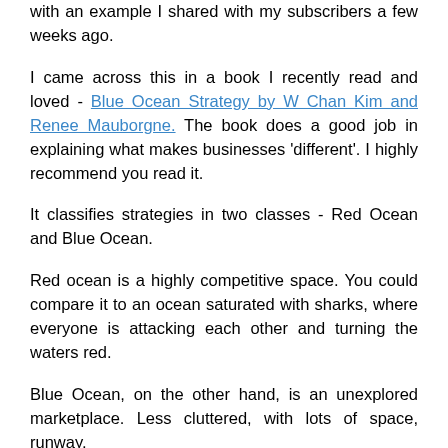with an example I shared with my subscribers a few weeks ago.

I came across this in a book I recently read and loved - Blue Ocean Strategy by W Chan Kim and Renee Mauborgne. The book does a good job in explaining what makes businesses 'different'. I highly recommend you read it.

It classifies strategies in two classes - Red Ocean and Blue Ocean.

Red ocean is a highly competitive space. You could compare it to an ocean saturated with sharks, where everyone is attacking each other and turning the waters red.

Blue Ocean, on the other hand, is an unexplored marketplace. Less cluttered, with lots of space, runway,